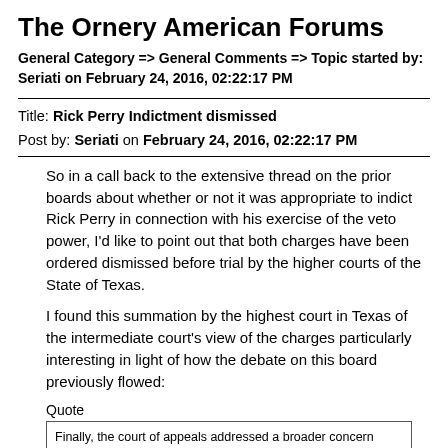The Ornery American Forums
General Category => General Comments => Topic started by: Seriati on February 24, 2016, 02:22:17 PM
Title: Rick Perry Indictment dismissed
Post by: Seriati on February 24, 2016, 02:22:17 PM
So in a call back to the extensive thread on the prior boards about whether or not it was appropriate to indict Rick Perry in connection with his exercise of the veto power, I'd like to point out that both charges have been ordered dismissed before trial by the higher courts of the State of Texas.
I found this summation by the highest court in Texas of the intermediate court's view of the charges particularly interesting in light of how the debate on this board previously flowed:
Quote
Finally, the court of appeals addressed a broader concern raised by Governor Perry and the amici who support him. In their view, this is a case in which a defendant who will inevitably be vindicated has nevertheless been made to face criminal charges of dubious legal viability (and/or  politically motivated origins). In such circumstances, the eventuality of obtaining a favorable judgment at trial or on appeal will do little to rectify the harm the defendant suffers to reputation, professional standing, and the like in the meantime. They suggested in the court of appeals that inflicting such harms might, in fact, be the primary goal of those pursuing the charges. The court of appeals found itself bound by what it considered to be this Court's holdings and said that such potential harms, "however considerable they may be," are insufficient in themselves to provide a